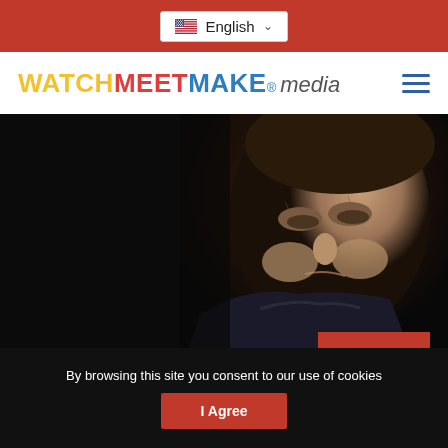English
[Figure (logo): Watch Meet Make media logo with hamburger menu icon]
[Figure (photo): Close-up portrait of Max von Sydow, elderly man looking downward with serious expression, dark background, wearing a dark jacket and scarf]
MEET
Max von Sydow
An actor with unlimited range, who let his talent and not his "brand" define him as a star.
By browsing this site you consent to our use of cookies
I Agree